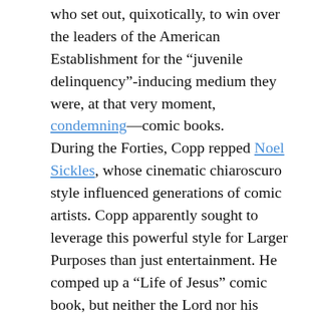who set out, quixotically, to win over the leaders of the American Establishment for the “juvenile delinquency”-inducing medium they were, at that very moment, condemning—comic books.
During the Forties, Copp repped Noel Sickles, whose cinematic chiaroscuro style influenced generations of comic artists. Copp apparently sought to leverage this powerful style for Larger Purposes than just entertainment. He comped up a “Life of Jesus” comic book, but neither the Lord nor his churches provided, and the project was shelved.
Stiffed by God, Copp turned to Caesar, then